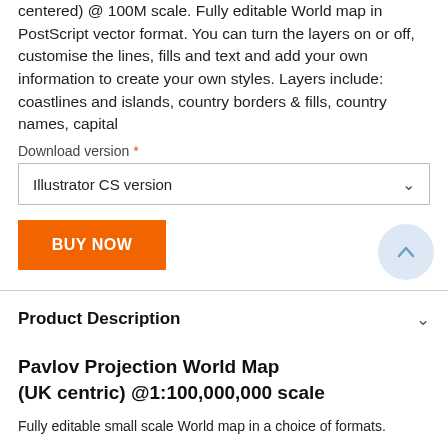centered) @ 100M scale. Fully editable World map in PostScript vector format. You can turn the layers on or off, customise the lines, fills and text and add your own information to create your own styles. Layers include: coastlines and islands, country borders & fills, country names, capital
Download version *
Illustrator CS version
BUY NOW
Product Description
Pavlov Projection World Map (UK centric) @1:100,000,000 scale
Fully editable small scale World map in a choice of formats.